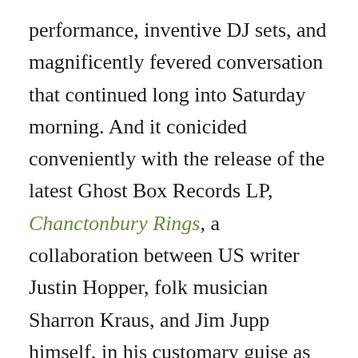performance, inventive DJ sets, and magnificently fevered conversation that continued long into Saturday morning. And it conicided conveniently with the release of the latest Ghost Box Records LP, Chanctonbury Rings, a collaboration between US writer Justin Hopper, folk musician Sharron Kraus, and Jim Jupp himself, in his customary guise as synth-prog overlord Belbury Poly. The album combines Justin's thoughtful, beguiling spoken accounts of mystical experiences on this ancient Sussex landmark with a swirling malestrom of musical textures: gently-